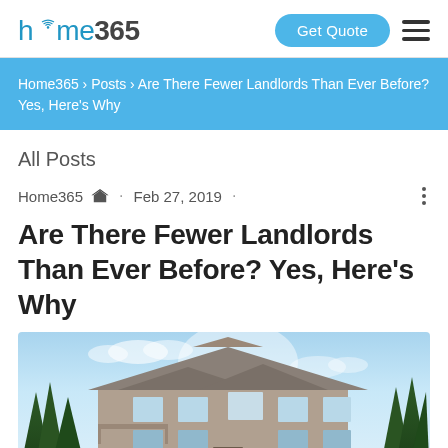home365 | Get Quote
Home365 › Posts › Are There Fewer Landlords Than Ever Before? Yes, Here's Why
All Posts
Home365 Admin · Feb 27, 2019 ·
Are There Fewer Landlords Than Ever Before? Yes, Here's Why
[Figure (photo): Exterior photo of a large multi-story house or lodge building with trees and blue sky in the background]